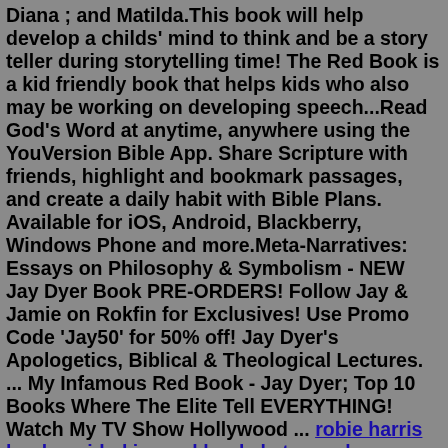Diana ; and Matilda.This book will help develop a childs' mind to think and be a story teller during storytelling time! The Red Book is a kid friendly book that helps kids who also may be working on developing speech...Read God's Word at anytime, anywhere using the YouVersion Bible App. Share Scripture with friends, highlight and bookmark passages, and create a daily habit with Bible Plans. Available for iOS, Android, Blackberry, Windows Phone and more.Meta-Narratives: Essays on Philosophy & Symbolism - NEW Jay Dyer Book PRE-ORDERS! Follow Jay & Jamie on Rokfin for Exclusives! Use Promo Code 'Jay50' for 50% off! Jay Dyer's Apologetics, Biblical & Theological Lectures. ... My Infamous Red Book - Jay Dyer; Top 10 Books Where The Elite Tell EVERYTHING! Watch My TV Show Hollywood ... robie harris booksguided journal booksketo meal prep cookbooka thousand acres audiobook